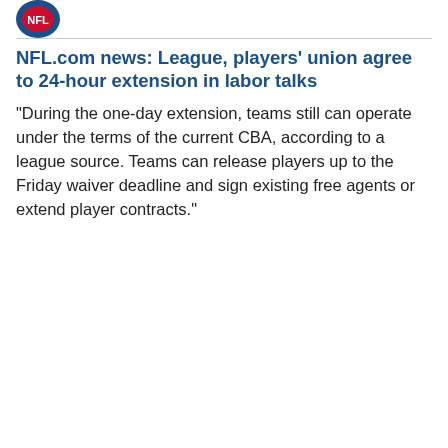[Figure (logo): Partial NFL shield logo in blue and red, partially visible at top left]
NFL.com news: League, players' union agree to 24-hour extension in labor talks
"During the one-day extension, teams still can operate under the terms of the current CBA, according to a league source. Teams can release players up to the Friday waiver deadline and sign existing free agents or extend player contracts."